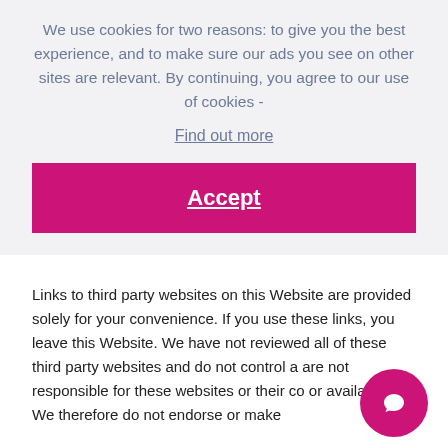We use cookies for two reasons: to give you the best experience, and to make sure our ads you see on other sites are relevant. By continuing, you agree to our use of cookies - Find out more
Accept
Links to third party websites on this Website are provided solely for your convenience. If you use these links, you leave this Website. We have not reviewed all of these third party websites and do not control a are not responsible for these websites or their co or availability. We therefore do not endorse or make